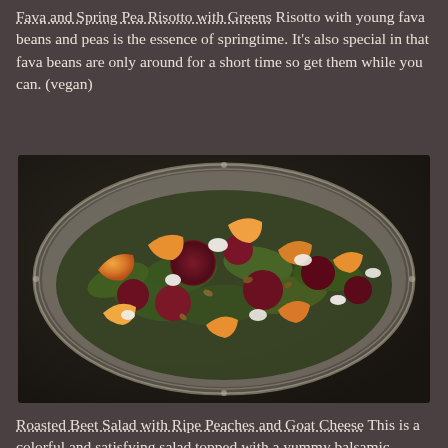Fava and Spring Pea Risotto with Greens Risotto with young fava beans and peas is the essence of springtime. It's also special in that fava beans are only around for a short time so get them while you can. (vegan)
[Figure (photo): A colorful salad served on a decorative silver plate, featuring roasted beets, sliced peaches, crumbled goat cheese, fresh herbs (parsley/mint/basil), and seeds/nuts. Shot from above on a dark marble surface.]
Roasted Beet Salad with Ripe Peaches and Goat Cheese This is a colorful and satisfying salad topped with a yummy balsamic vinaigrette, fresh mint and basil. Apricots are in season and would make a good substitute if you can't find good peaches.